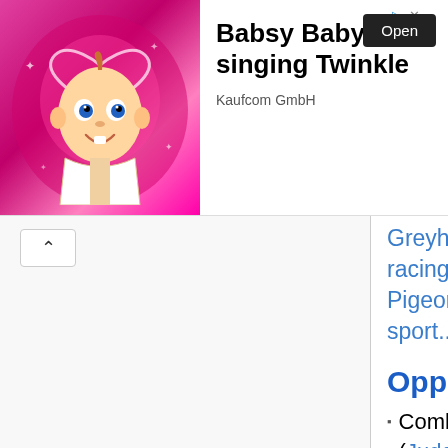[Figure (screenshot): Advertisement banner for 'Babsy Baby singing Twinkle' app by Kaufcom GmbH, featuring a cartoon baby with a heart halo on a pink sparkly background, with an 'Open' button and navigation arrows.]
Greyhound racing, Pigeon sport...)
Opponent
Combat (Judo, karate, boxing, fencing, tae...